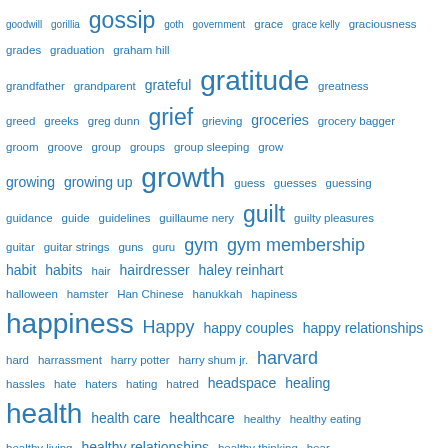[Figure (infographic): Word cloud / tag cloud with terms starting with 'g' and 'h', displayed in varying font sizes in blue color on white background. Larger words indicate higher frequency/importance. Terms include: goodwill, gorillia, gossip, goth, government, grace, grace kelly, graciousness, grades, graduation, graham hill, grandfather, grandparent, grateful, gratitude, greatness, greed, greeks, greg dunn, grief, grieving, groceries, grocery bagger, groom, groove, group, groups, group sleeping, grow, growing, growing up, growth, guess, guesses, guessing, guidance, guide, guidelines, guillaume nery, guilt, guilty pleasures, guitar, guitar strings, guns, guru, gym, gym membership, habit, habits, hair, hairdresser, haley reinhart, halloween, hamster, Han Chinese, hanukkah, hapiness, happiness, Happy, happy couples, happy relationships, hard, harrassment, harry potter, harry shum jr., harvard, hassles, hate, haters, hating, hatred, headspace, healing, health, health care, healthcare, healthy, healthy eating, healthy living, healthy relationships, healthy thinking, hear, hearing, hearing aids, hearing loss, heart, heartache, heart and mind, heartbreak, heather, heaven, height, helicopter parenting, hell, help, helpfulness, helping, helping hand, helping people, henry molaison, herding cats, hero, heroes]